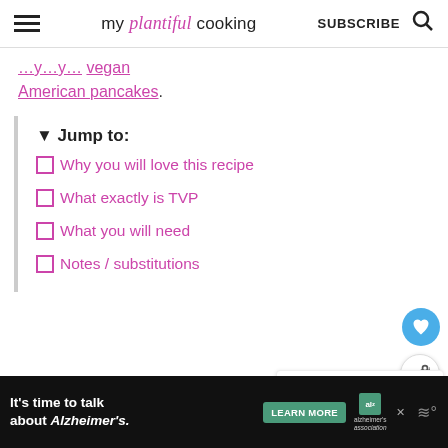my plantiful cooking | SUBSCRIBE
...vegan American pancakes.
▼ Jump to:
□Why you will love this recipe
□What exactly is TVP
□What you will need
□Notes / substitutions
WHAT'S NEXT → Smoky Vegan Seitan Bacon
It's time to talk about Alzheimer's. LEARN MORE